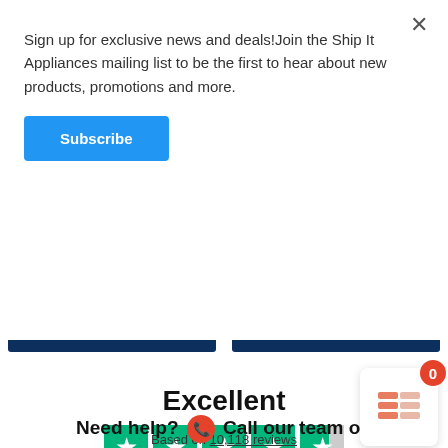Sign up for exclusive news and deals!Join the Ship It Appliances mailing list to be the first to hear about new products, promotions and more.
Subscribe
[Figure (other): Two ADD TO CART buttons side by side on dark navy background]
Excellent
[Figure (other): Trustpilot 4.5 star rating graphic with 5 green star boxes]
Based on 10,118 reviews
[Figure (logo): Trustpilot logo with green star]
Need help? Call our team on